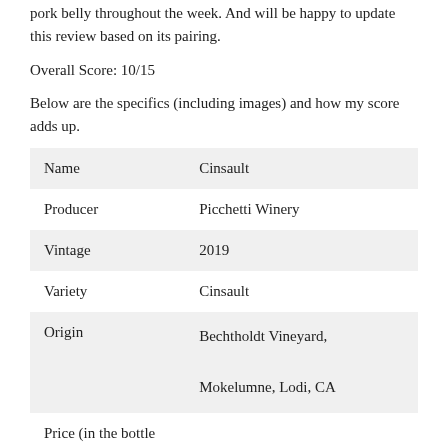pork belly throughout the week. And will be happy to update this review based on its pairing.
Overall Score: 10/15
Below are the specifics (including images) and how my score adds up.
| Name | Cinsault |
| Producer | Picchetti Winery |
| Vintage | 2019 |
| Variety | Cinsault |
| Origin | Bechtholdt Vineyard, Mokelumne, Lodi, CA |
| Price (in the bottle |  |